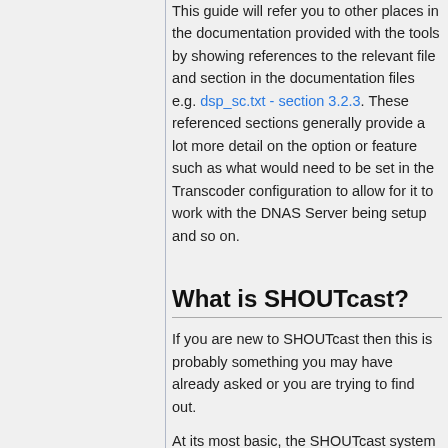This guide will refer you to other places in the documentation provided with the tools by showing references to the relevant file and section in the documentation files e.g. dsp_sc.txt - section 3.2.3. These referenced sections generally provide a lot more detail on the option or feature such as what would need to be set in the Transcoder configuration to allow for it to work with the DNAS Server being setup and so on.
What is SHOUTcast?
If you are new to SHOUTcast then this is probably something you may have already asked or you are trying to find out.
At its most basic, the SHOUTcast system is based around a 'client + server' configuration which allows you to run a server (either directly or via a hosted service) which can then provide a stream